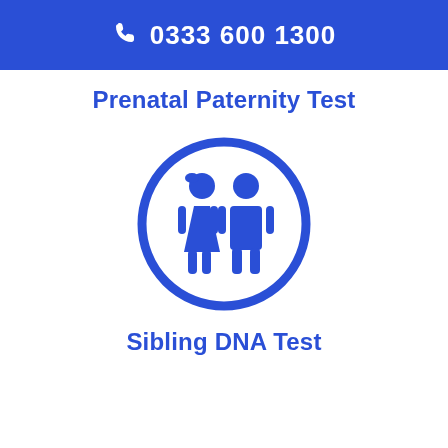0333 600 1300
Prenatal Paternity Test
[Figure (illustration): A blue circle outline containing two blue human figure icons (a girl with a triangular skirt shape and a boy), representing siblings. The icons are centered inside the circle.]
Sibling DNA Test